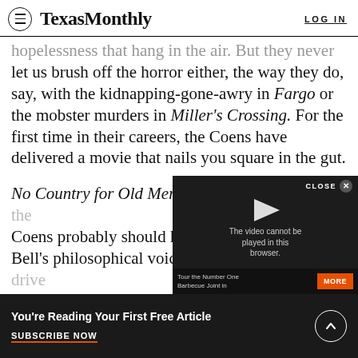Texas Monthly | LOG IN
hopelessness that hang in the air. But they never let us brush off the horror either, the way they do, say, with the kidnapping-gone-awry in Fargo or the mobster murders in Miller's Crossing. For the first time in their careers, the Coens have delivered a movie that nails you square in the gut.
No Country for Old Men carries on too long, and the Coens probably should have trimmed Sheriff Bell's philosophical voice-overs, which try to drive home McCarthy's elegiac themes heavy-handedly. Purists may also balk at h…
[Figure (screenshot): Video player overlay showing 'The video cannot be played in this browser.' with a play button arrow, CLOSE X button, and a lower bar reading 'Tour the Number One Barbecue Joint in' with a MORE button.]
You're Reading Your First Free Article
SUBSCRIBE NOW